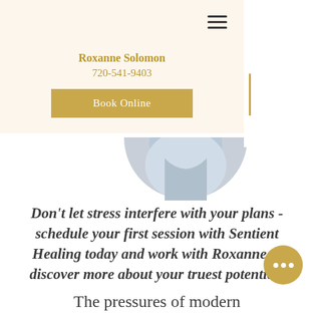Roxanne Solomon
720-541-9403
Book Online
[Figure (photo): Circular cropped photo showing a person in a light blue top, visible from shoulders up, bottom half of circle shown at top of white content area]
Don’t let stress interfere with your plans - schedule your first session with Sentient Healing today and work with Roxanne to discover more about your truest potential!
The pressures of modern